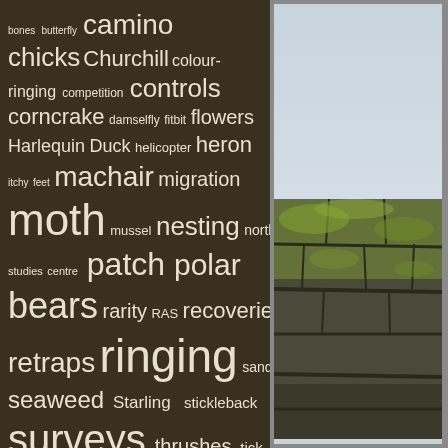[Figure (infographic): Word cloud on dark brown background with words related to nature, birdwatching, and outdoor activities. Words include: bones, butterfly, camino, chicks, Churchill, colour-ringing, competition, controls, corncrake, damselfly, fitbit, flowers, Harlequin Duck, helicopter, heron, itchy feet, machair, migration, moth, mussel, nesting, northern studies centre, patch, polar bears, rarity, RAS, recoveries, retraps, ringing, sandpiper, seaweed, Starling, stickleback, surveys, thrushes, tick, walking, weather]
[Figure (photo): Photograph showing a stone wall with green moss/lichen against a pale blue-grey sky background]